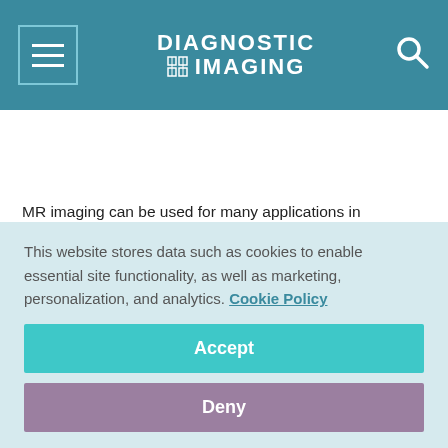DIAGNOSTIC IMAGING
MR imaging can be used for many applications in oncology. Its main roles in cancer imaging are determining locoregional tumor extent, characterizing tumors, and monitoring treatment. MRI, like CT, relies on morphological criteria for
This website stores data such as cookies to enable essential site functionality, as well as marketing, personalization, and analytics. Cookie Policy
Accept
Deny